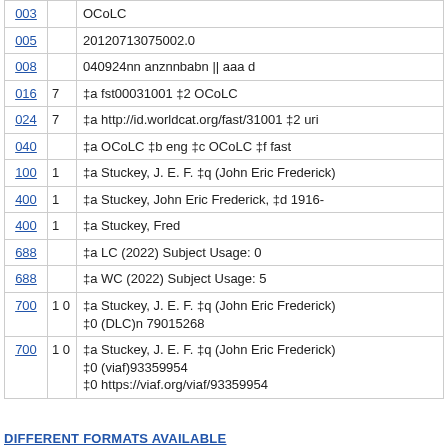| Tag | Ind | Data |
| --- | --- | --- |
| 003 |  | OCoLC |
| 005 |  | 20120713075002.0 |
| 008 |  | 040924nn anznnbabn || aaa d |
| 016 | 7 | ‡a fst00031001 ‡2 OCoLC |
| 024 | 7 | ‡a http://id.worldcat.org/fast/31001 ‡2 uri |
| 040 |  | ‡a OCoLC ‡b eng ‡c OCoLC ‡f fast |
| 100 | 1 | ‡a Stuckey, J. E. F. ‡q (John Eric Frederick) |
| 400 | 1 | ‡a Stuckey, John Eric Frederick, ‡d 1916- |
| 400 | 1 | ‡a Stuckey, Fred |
| 688 |  | ‡a LC (2022) Subject Usage: 0 |
| 688 |  | ‡a WC (2022) Subject Usage: 5 |
| 700 | 1 0 | ‡a Stuckey, J. E. F. ‡q (John Eric Frederick) ‡0 (DLC)n 79015268 |
| 700 | 1 0 | ‡a Stuckey, J. E. F. ‡q (John Eric Frederick) ‡0 (viaf)93359954 ‡0 https://viaf.org/viaf/93359954 |
DIFFERENT FORMATS AVAILABLE